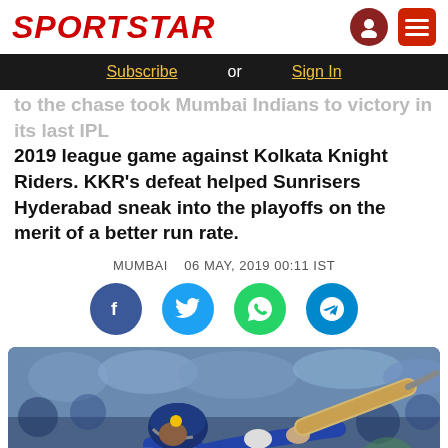SPORTSTAR
Subscribe or Sign In
to the chase took Mumbai Indians to victory in its last IPL 2019 league game against Kolkata Knight Riders. KKR's defeat helped Sunrisers Hyderabad sneak into the playoffs on the merit of a better run rate.
MUMBAI   06 MAY, 2019 00:11 IST
[Figure (infographic): Social share buttons: Facebook, Twitter, WhatsApp, Telegram]
[Figure (photo): Cricket player in blue Mumbai Indians uniform playing a batting shot, holding a cricket bat extended outward, stadium crowd in background]